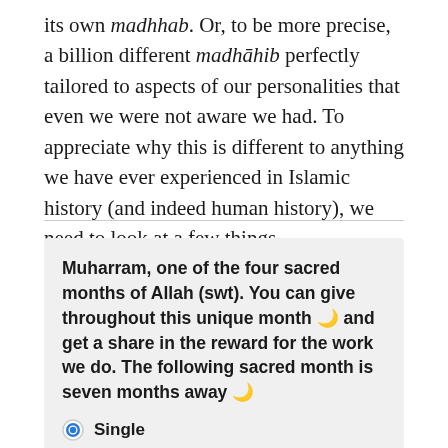its own madhhab. Or, to be more precise, a billion different madhāhib perfectly tailored to aspects of our personalities that even we were not aware we had. To appreciate why this is different to anything we have ever experienced in Islamic history (and indeed human history), we need to look at a few things.
Muharram, one of the four sacred months of Allah (swt). You can give throughout this unique month 🌙 and get a share in the reward for the work we do. The following sacred month is seven months away 🌙
Single
Monthly Donation